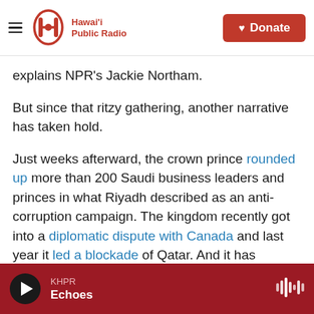[Figure (logo): Hawai'i Public Radio logo with hamburger menu and Donate button]
explains NPR's Jackie Northam.
But since that ritzy gathering, another narrative has taken hold.
Just weeks afterward, the crown prince rounded up more than 200 Saudi business leaders and princes in what Riyadh described as an anti-corruption campaign. The kingdom recently got into a diplomatic dispute with Canada and last year it led a blockade of Qatar. And it has continued to play a major role in neighboring Yemen's civil war, which has seen thousands of civilians killed and millions
KHPR Echoes